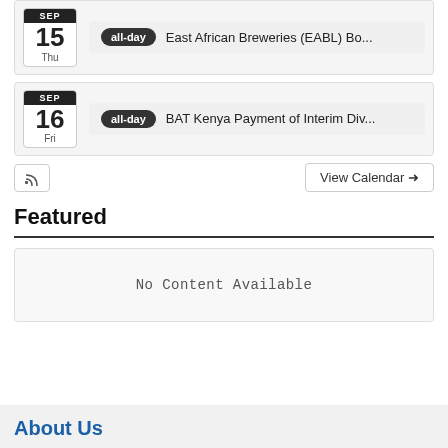SEP 15 Thu – all-day – East African Breweries (EABL) Bo...
SEP 16 Fri – all-day – BAT Kenya Payment of Interim Div...
View Calendar →
Featured
No Content Available
About Us